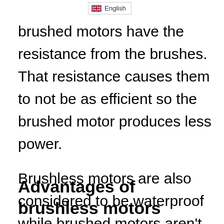[Figure (other): English language selector UI bar with UK flag icon]
brushed motors have the resistance from the brushes. That resistance causes them to not be as efficient so the brushed motor produces less power.

Brushless motors are also considered to be waterproof while brushed motors aren't.
Advantages of brushless motors